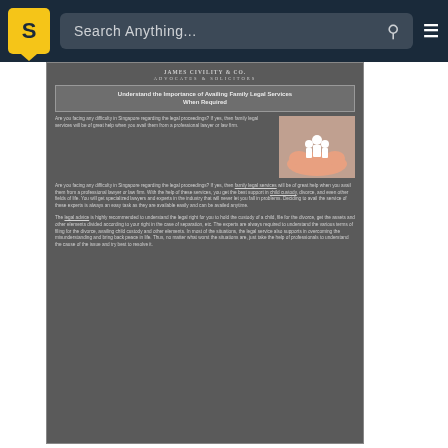Search Anything...
[Figure (screenshot): Screenshot of a legal firm webpage showing 'Understand the Importance of Availing Family Legal Services When Required' article with firm logo, text content, and hands holding paper family cutout illustration]
Understand the Importance of...
Are you facing any difficulty in Singapore regarding the legal